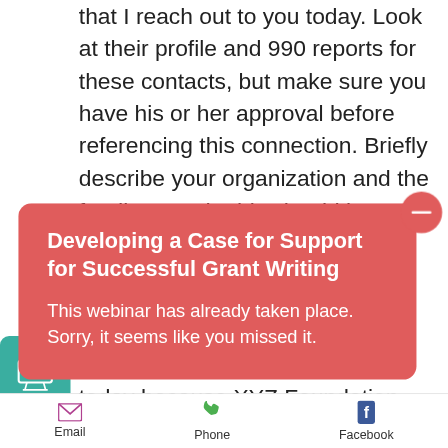that I reach out to you today. Look at their profile and 990 reports for these contacts, but make sure you have his or her approval before referencing this connection. Briefly describe your organization and the funding need. This should be an elevator speech. Give them enough information to ask more questions, but tell them you want to...
[Figure (other): Red rounded popup box with title 'Developing a Case for Support for Successful Grant Writing' and body text 'This webinar has already taken place. Sorry, it seems like you missed it.' with a red circular close button in the top right corner.]
example: 'I wanted to connect today because XYZ Foundation has previously
[Figure (illustration): Teal/green rounded square icon with a webinar/presentation graphic and label 'Webinar' at the bottom]
Email   Phone   Facebook